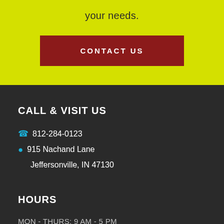your needs.
CONTACT US
CALL & VISIT US
812-284-0123
915 Nachand Lane Jeffersonville, IN 47130
HOURS
MON - THURS: 9 AM - 5 PM
FRI: 9 AM - 3 PM